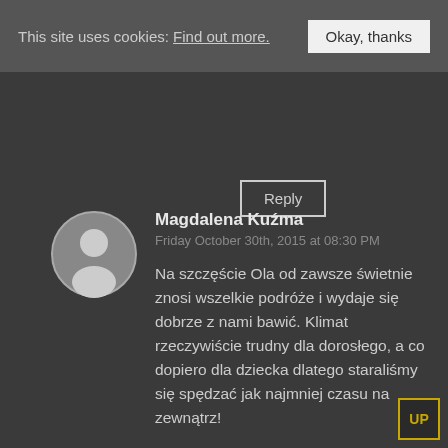This site uses cookies: Find out more.   Okay, thanks
Reply
Magdalena Kuźma
Friday October 30th, 2015 at 08:30 PM
Na szczęście Ola od zawsze świetnie znosi wszelkie podróże i wydaje się dobrze z nami bawić. Klimat rzeczywiście trudny dla dorosłego, a co dopiero dla dziecka dlatego staraliśmy się spędzać jak najmniej czasu na zewnątrz!
UP